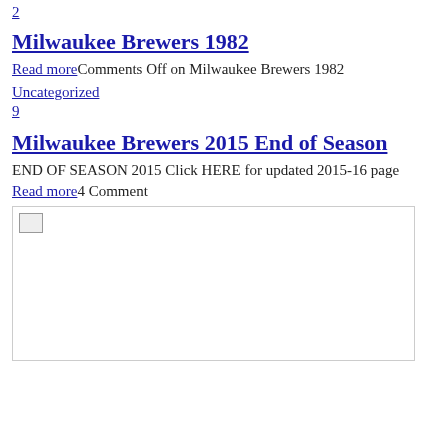2
Milwaukee Brewers 1982
Read moreComments Off on Milwaukee Brewers 1982
Uncategorized
9
Milwaukee Brewers 2015 End of Season
END OF SEASON 2015 Click HERE for updated 2015-16 page
Read more4 Comment
[Figure (photo): Broken image placeholder for Milwaukee Brewers 2015 content]